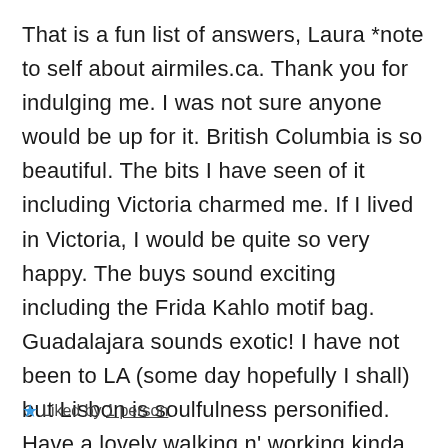That is a fun list of answers, Laura *note to self about airmiles.ca. Thank you for indulging me. I was not sure anyone would be up for it. British Columbia is so beautiful. The bits I have seen of it including Victoria charmed me. If I lived in Victoria, I would be quite so very happy. The buys sound exciting including the Frida Kahlo motif bag. Guadalajara sounds exotic! I have not been to LA (some day hopefully I shall) but Lisbon is soulfulness personified. Have a lovely walking n' working kinda weekend 🙂
★ Liked by 1 person